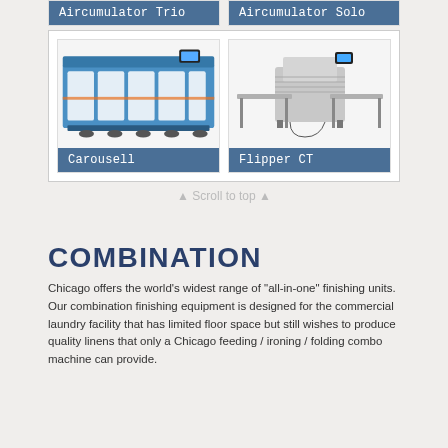[Figure (photo): Aircumulator Trio industrial laundry machine product card with label]
[Figure (photo): Aircumulator Solo industrial laundry machine product card with label]
[Figure (photo): Carousell industrial laundry folding machine product card with label]
[Figure (photo): Flipper CT industrial laundry machine product card with label]
⬆ Scroll to top ⬆
COMBINATION
Chicago offers the world's widest range of "all-in-one" finishing units. Our combination finishing equipment is designed for the commercial laundry facility that has limited floor space but still wishes to produce quality linens that only a Chicago feeding / ironing / folding combo machine can provide.